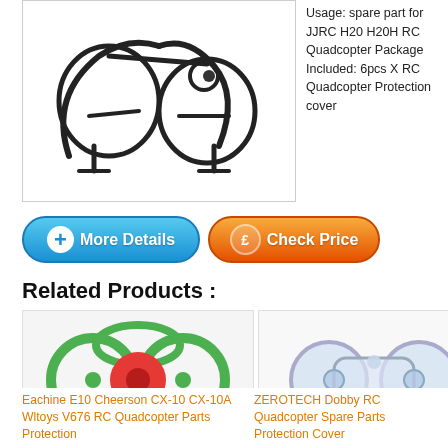[Figure (photo): Black drone/quadcopter propeller protection guard parts on white background]
Usage: spare part for JJRC H20 H20H RC Quadcopter Package Included: 6pcs X RC Quadcopter Protection cover
[Figure (other): Blue 'More Details' button with plus icon]
[Figure (other): Orange 'Check Price' button with pound sign icon]
Related Products :
[Figure (photo): Red and green mini quadcopter drone]
Eachine E10 Cheerson CX-10 CX-10A Wltoys V676 RC Quadcopter Parts Protection
[Figure (photo): Clear/transparent quadcopter spare part protection cover]
ZEROTECH Dobby RC Quadcopter Spare Parts Protection Cover
[Figure (photo): Glowing green fluorescent arm protectors on black background]
ZEROTECH Dobby RC Quadcopter Spare parts Fluorescent Arms Protective